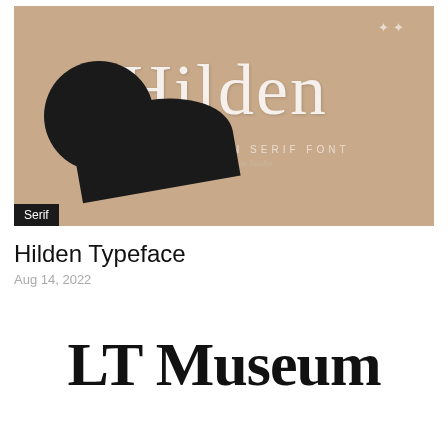[Figure (illustration): Font preview image for Hilden Typeface showing the word 'Hilden' in a large decorative serif font on a tan/beige background with a black hat/circle object. Text 'STYLISH MODERN SERIF FONT' and 'Created by Poptype Studio' appear below. A black 'Serif' badge is in the bottom-left corner.]
Hilden Typeface
Aug 14, 2022
[Figure (illustration): Large bold serif font preview showing 'LT Museum' text in black on white background, partially cut off at bottom of page.]